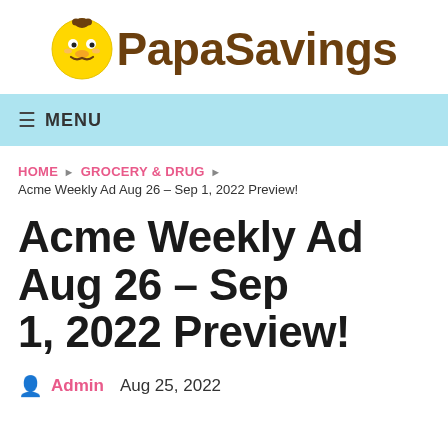[Figure (logo): PapaSavings logo: yellow cartoon chick face with mustache and brown hair, followed by bold brown text 'PapaSavings']
≡ MENU
HOME ▶ GROCERY & DRUG ▶
Acme Weekly Ad Aug 26 – Sep 1, 2022 Preview!
Acme Weekly Ad Aug 26 – Sep 1, 2022 Preview!
Admin   Aug 25, 2022